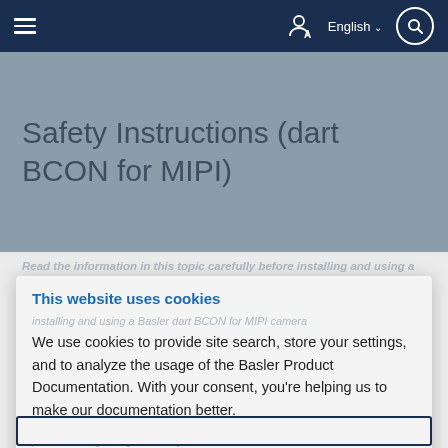≡  English ∨  🔍
Safety Instructions (dart BCON for MIPI)
Read the information in this topic carefully before installing and using a Basler dart BCON for MIPI camera
This website uses cookies
We use cookies to provide site search, store your settings, and to analyze the usage of the Basler Product Documentation. With your consent, you're helping us to make our documentation better.
Accept
product and ignoring the safety instructions.